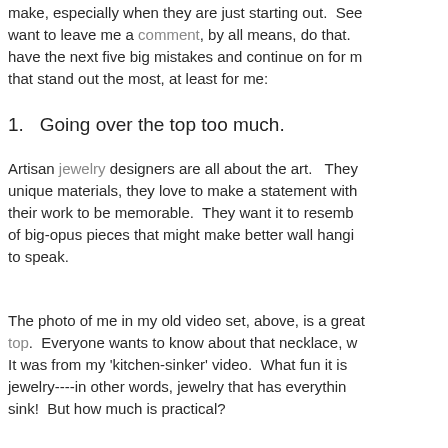make, especially when they are just starting out.  See want to leave me a comment, by all means, do that. have the next five big mistakes and continue on for m that stand out the most, at least for me:
1.   Going over the top too much.
Artisan jewelry designers are all about the art.  They unique materials, they love to make a statement with their work to be memorable.  They want it to resemb of big-opus pieces that might make better wall hangi to speak.
The photo of me in my old video set, above, is a great top.  Everyone wants to know about that necklace, w It was from my 'kitchen-sinker' video.  What fun it is jewelry----in other words, jewelry that has everythin sink!  But how much is practical?